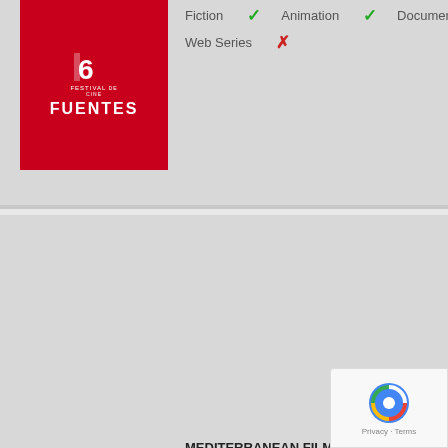[Figure (logo): Festival de Cine de Fuentes logo - red background with white text]
Fiction ✓   Animation ✓   Documentary ✓
Web Series ✗
MEDITERRANEAN FILM FESTIVAL CANNES (...
[Figure (logo): Mediterranean Film Festival Cannes logo - blue toned image]
Fiction ✓   Animation ✓   Documentary ✓
Web Series ✓
This website uses its own and third-party cookies for its operation and to personalize the navigation of the users. For more information consult our Privacy and Cookies Policy, because if you continue browsing you will be accepting its use. Privacy · Cookies
FESTIVAL VILLA DEL CINE (Colombia)
Fiction ✓   Animation ✓   Documentary ✓
Web Series ✗
[Figure (logo): Festival Villa del Cine logo with globe and FESTIVAL VILLA del CINE text]